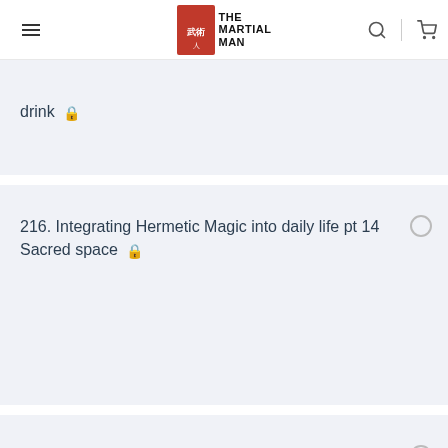The Martial Man
drink 🔒
216. Integrating Hermetic Magic into daily life pt 14 Sacred space 🔒
217. Integrating Hermetic Magic into daily life pt 15 glowing skin 🔒